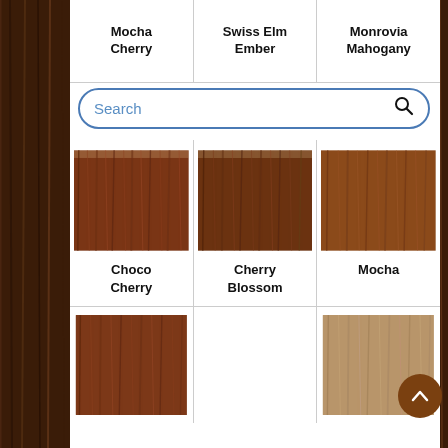Mocha Cherry
Swiss Elm Ember
Monrovia Mahogany
[Figure (screenshot): Search bar with blue border and magnifying glass icon]
[Figure (photo): Choco Cherry wood veneer sample - dark reddish-brown wood grain]
Choco Cherry
[Figure (photo): Cherry Blossom wood veneer sample - medium dark brown wood grain]
Cherry Blossom
[Figure (photo): Mocha wood veneer sample - medium warm brown wood grain]
Mocha
[Figure (photo): Partial wood veneer sample - dark reddish-brown, bottom row, first cell]
[Figure (photo): Partial wood veneer sample - light tan/beige wood grain, bottom row, third cell]